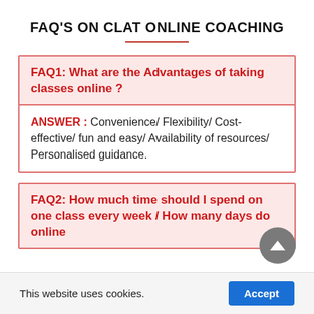FAQ'S ON CLAT ONLINE COACHING
FAQ1: What are the Advantages of taking classes online ?
ANSWER : Convenience/ Flexibility/ Cost-effective/ fun and easy/ Availability of resources/ Personalised guidance.
FAQ2: How much time should I spend on one class every week / How many days do online
This website uses cookies.